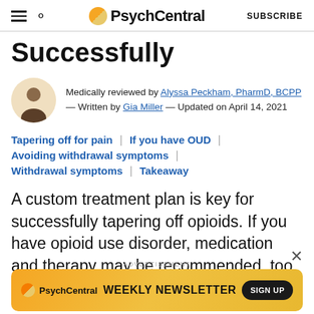PsychCentral — SUBSCRIBE
Successfully
Medically reviewed by Alyssa Peckham, PharmD, BCPP — Written by Gia Miller — Updated on April 14, 2021
Tapering off for pain | If you have OUD | Avoiding withdrawal symptoms | Withdrawal symptoms | Takeaway
A custom treatment plan is key for successfully tapering off opioids. If you have opioid use disorder, medication and therapy may be recommended, too.
[Figure (infographic): PsychCentral advertisement banner: WEEKLY NEWSLETTER SIGN UP]